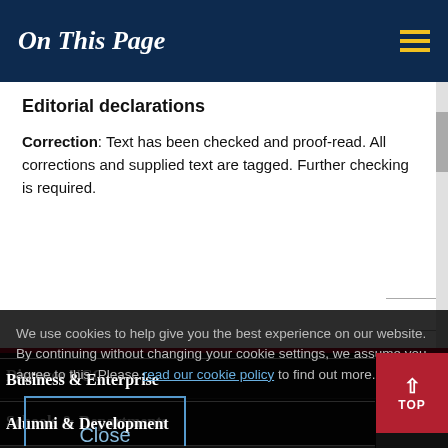On This Page
Editorial declarations
Correction: Text has been checked and proof-read. All corrections and supplied text are tagged. Further checking is required.
Discover UCC
Schools & Departments
Business & Enterprise
Alumni & Development
We use cookies to help give you the best experience on our website. By continuing without changing your cookie settings, we assume you agree to this. Please read our cookie policy to find out more.
Home